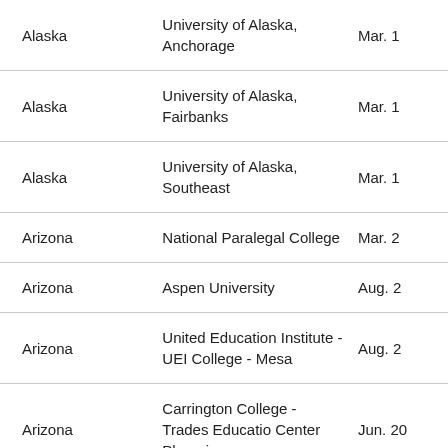| State | Institution | Date |
| --- | --- | --- |
| Alaska | University of Alaska, Anchorage | Mar. 1 |
| Alaska | University of Alaska, Fairbanks | Mar. 1 |
| Alaska | University of Alaska, Southeast | Mar. 1 |
| Arizona | National Paralegal College | Mar. 2 |
| Arizona | Aspen University | Aug. 2 |
| Arizona | United Education Institute - UEI College - Mesa | Aug. 2 |
| Arizona | Carrington College - Trades Educatio Center Phoenix | Jun. 20 |
| Arizona | Arizona Summit Law School | Jun. 20 |